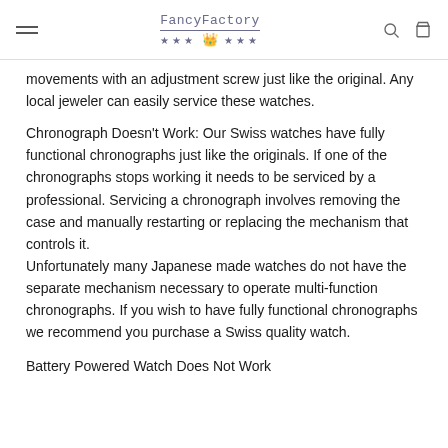FancyFactory *** crown ***
movements with an adjustment screw just like the original. Any local jeweler can easily service these watches.
Chronograph Doesn't Work: Our Swiss watches have fully functional chronographs just like the originals. If one of the chronographs stops working it needs to be serviced by a professional. Servicing a chronograph involves removing the case and manually restarting or replacing the mechanism that controls it.
Unfortunately many Japanese made watches do not have the separate mechanism necessary to operate multi-function chronographs. If you wish to have fully functional chronographs we recommend you purchase a Swiss quality watch.
Battery Powered Watch Does Not Work